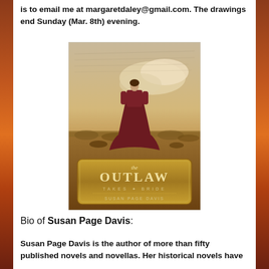is to email me at margaretdaley@gmail.com. The drawings end Sunday (Mar. 8th) evening.
[Figure (illustration): Book cover of 'The Outlaw Takes a Bride' by Susan Page Davis. Shows a woman in a dark red Victorian dress standing in a prairie field with golden skies, with a decorative gold banner at the bottom showing the title.]
Bio of Susan Page Davis:
Susan Page Davis is the author of more than fifty published novels and novellas. Her historical novels have